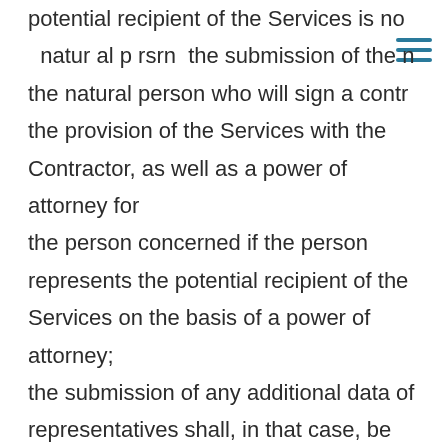potential recipient of the Services is not a natural person, the submission of the natural person who will sign a contract for the provision of the Services with the Contractor, as well as a power of attorney for the person concerned if the person represents the potential recipient of the Services on the basis of a power of attorney; the submission of any additional data of representatives shall, in that case, be optional.
3.1.2. The Contractor shall receive the data during the training and other events referred to in paragraph 1.1 that are organised by the